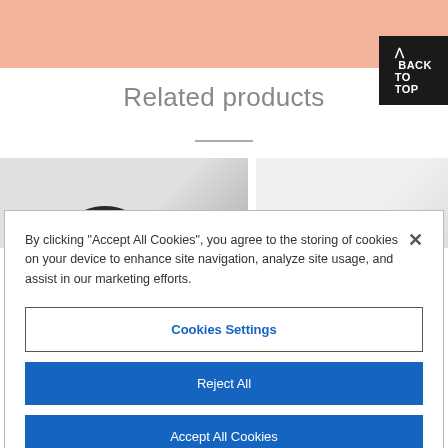[Figure (screenshot): Salmon/peach colored header bar at top of webpage]
^ BACK TO TOP
Related products
[Figure (photo): Two product images side by side, left showing a dark round object on light background, right showing a plain light background]
By clicking "Accept All Cookies", you agree to the storing of cookies on your device to enhance site navigation, analyze site usage, and assist in our marketing efforts.
Cookies Settings
Reject All
Accept All Cookies